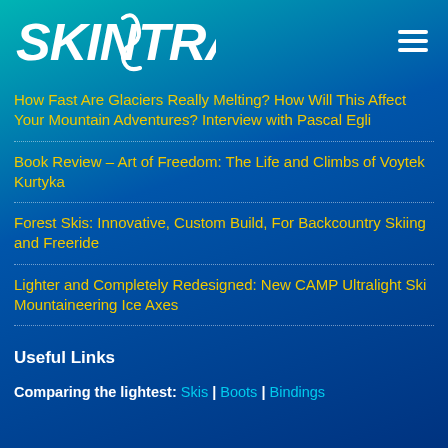SKINTRACK
How Fast Are Glaciers Really Melting? How Will This Affect Your Mountain Adventures? Interview with Pascal Egli
Book Review – Art of Freedom: The Life and Climbs of Voytek Kurtyka
Forest Skis: Innovative, Custom Build, For Backcountry Skiing and Freeride
Lighter and Completely Redesigned: New CAMP Ultralight Ski Mountaineering Ice Axes
Useful Links
Comparing the lightest: Skis | Boots | Bindings